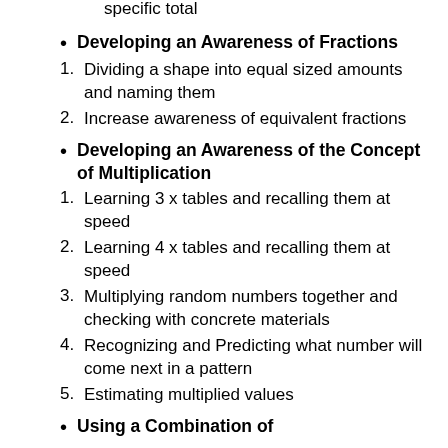specific total
Developing an Awareness of Fractions
1. Dividing a shape into equal sized amounts and naming them
2. Increase awareness of equivalent fractions
Developing an Awareness of the Concept of Multiplication
1. Learning 3 x tables and recalling them at speed
2. Learning 4 x tables and recalling them at speed
3. Multiplying random numbers together and checking with concrete materials
4. Recognizing and Predicting what number will come next in a pattern
5. Estimating multiplied values
Using a Combination of